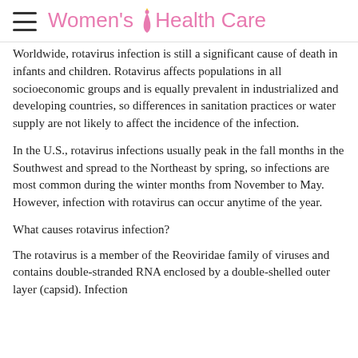Women's Health Care
Worldwide, rotavirus infection is still a significant cause of death in infants and children. Rotavirus affects populations in all socioeconomic groups and is equally prevalent in industrialized and developing countries, so differences in sanitation practices or water supply are not likely to affect the incidence of the infection.
In the U.S., rotavirus infections usually peak in the fall months in the Southwest and spread to the Northeast by spring, so infections are most common during the winter months from November to May. However, infection with rotavirus can occur anytime of the year.
What causes rotavirus infection?
The rotavirus is a member of the Reoviridae family of viruses and contains double-stranded RNA enclosed by a double-shelled outer layer (capsid). Infection